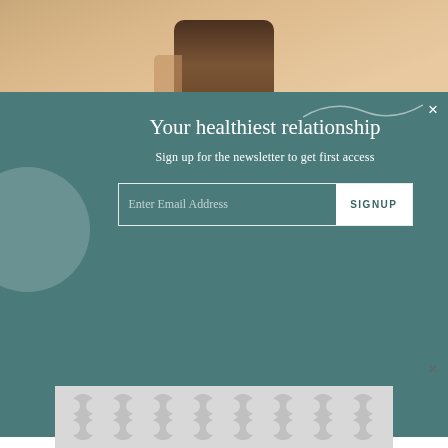[Figure (photo): Top portion of a photo showing a dark cylindrical object (possibly a person's neck/skin) against a warm beige/orange background]
Your healthiest relationship
Sign up for the newsletter to get first access
Enter Email Address    SIGNUP
A fever pitch, an awareness of changing temperatures, unpredictable environments, and survival instincts has become a constant in our lives—and promises to remain an important part of our future. In the beauty industry, this bent towards environmentalism is being reflected in organic
[Figure (other): Advertisement banner with repeating circular pattern in grey tones]